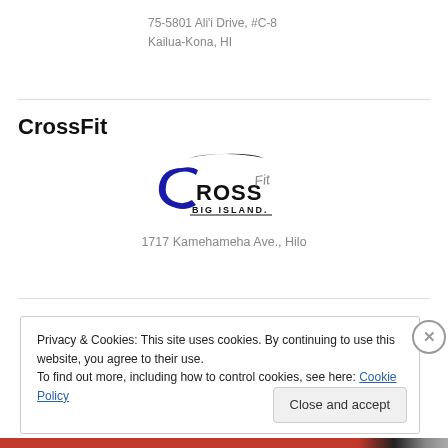75-5801 Ali'i Drive, #C-8
Kailua-Kona, HI
CrossFit
[Figure (logo): CrossFit Big Island logo — stylized lettering with swoosh arc]
1717 Kamehameha Ave., Hilo
Privacy & Cookies: This site uses cookies. By continuing to use this website, you agree to their use.
To find out more, including how to control cookies, see here: Cookie Policy